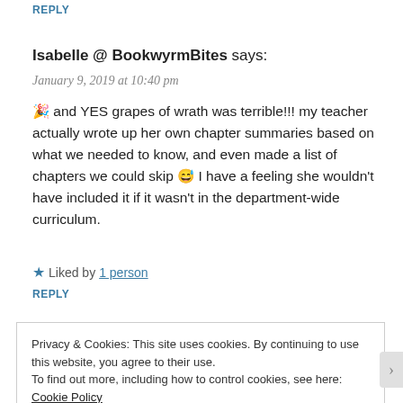REPLY
Isabelle @ BookwyrmBites says:
January 9, 2019 at 10:40 pm
🎉 and YES grapes of wrath was terrible!!! my teacher actually wrote up her own chapter summaries based on what we needed to know, and even made a list of chapters we could skip 😅 I have a feeling she wouldn't have included it if it wasn't in the department-wide curriculum.
★ Liked by 1 person
REPLY
Privacy & Cookies: This site uses cookies. By continuing to use this website, you agree to their use.
To find out more, including how to control cookies, see here: Cookie Policy
Close and accept